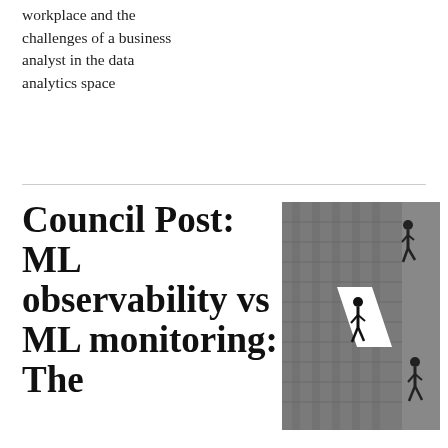workplace and the challenges of a business analyst in the data analytics space
Council Post: ML observability vs ML monitoring: The
[Figure (photo): Black and white photo of businessmen walking on the side of a building, surreal perspective]